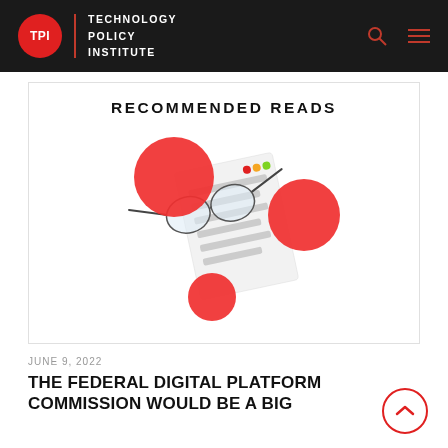TPI | TECHNOLOGY POLICY INSTITUTE
RECOMMENDED READS
[Figure (illustration): 3D illustration of glasses resting on a document with three red spheres/balls around it, representing reading and research.]
JUNE 9, 2022
THE FEDERAL DIGITAL PLATFORM COMMISSION WOULD BE A BIG